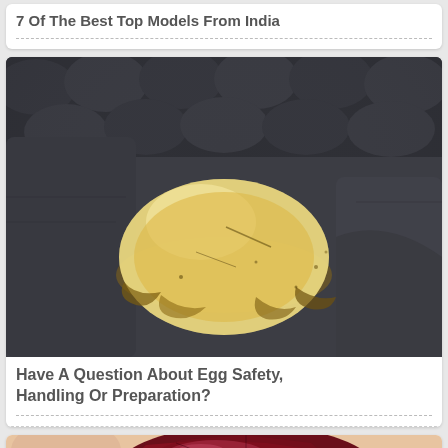7 Of The Best Top Models From India
[Figure (photo): A translucent yellowish dome-shaped object (egg without shell) resting on dark leather gloves]
Have A Question About Egg Safety, Handling Or Preparation?
[Figure (photo): A hand holding a dark red/purple gemstone or crystal object, partially visible at bottom of page]